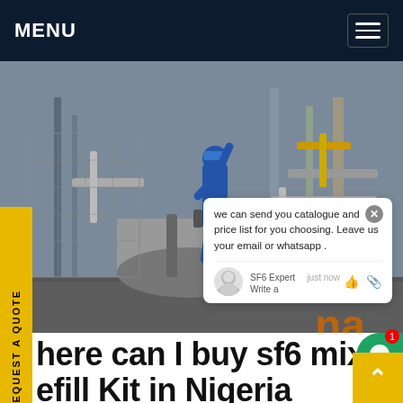MENU
[Figure (photo): Industrial/energy facility scene with a worker in blue coveralls and blue hard hat operating equipment including large cylindrical vessels and piping structures]
REQUEST A QUOTE
we can send you catalogue and price list for you choosing. Leave us your email or whatsapp .
SF6 Expert   just now
Write a
Where can I buy sf6 mix Refill Kit in Nigeria
Groceries Online In Nigeria. Do you need to get some daily use items for yourself and your family? Discover groceries in Nigeria on Jumia. We offer you a wide